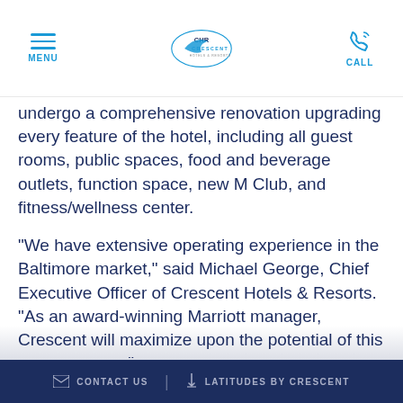MENU | CRESCENT HOTELS & RESORTS | CALL
undergo a comprehensive renovation upgrading every feature of the hotel, including all guest rooms, public spaces, food and beverage outlets, function space, new M Club, and fitness/wellness center.
"We have extensive operating experience in the Baltimore market," said Michael George, Chief Executive Officer of Crescent Hotels & Resorts. "As an award-winning Marriott manager, Crescent will maximize upon the potential of this great property."
The Baltimore Marriott Inner Harbor at Camden Yards features on-site parking, a 24-hour fitness center, and two restaurants. The Yard seafood and sports bar
CONTACT US | LATITUDES BY CRESCENT